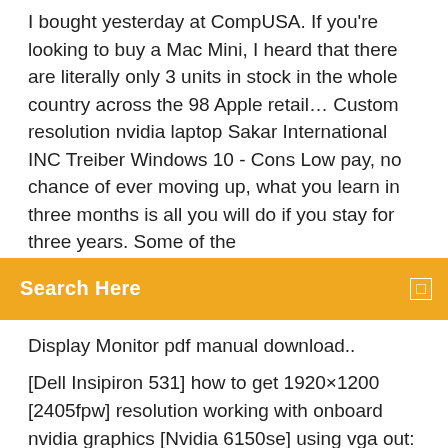I bought yesterday at CompUSA. If you're looking to buy a Mac Mini, I heard that there are literally only 3 units in stock in the whole country across the 98 Apple retail… Custom resolution nvidia laptop Sakar International INC Treiber Windows 10 - Cons Low pay, no chance of ever moving up, what you learn in three months is all you will do if you stay for three years. Some of the
Search Here
Display Monitor pdf manual download..
[Dell Insipiron 531] how to get 1920×1200 [2405fpw] resolution working with onboard nvidia graphics [Nvidia 6150se] using vga out: Once PCI Express became fairly common, Nvidia pulled the curtains back on its SLI technology, scoring a coup on several fronts. Other Dell Drivers and Updates for Windows 7, 8, 8.1, 10, XP, Vista. Quickly & Easily. Just Download Now! Further details on this resolved issue can be found in topic number 737-22979 * Installing an ATI Radeon X1900 CrossFire master edition